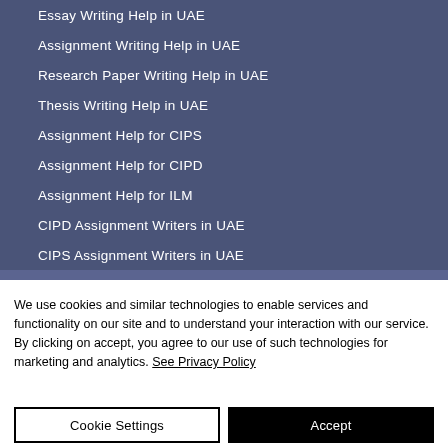Essay Writing Help in UAE
Assignment Writing Help in UAE
Research Paper Writing Help in UAE
Thesis Writing Help in UAE
Assignment Help for CIPS
Assignment Help for CIPD
Assignment Help for ILM
CIPD Assignment Writers in UAE
CIPS Assignment Writers in UAE
We use cookies and similar technologies to enable services and functionality on our site and to understand your interaction with our service. By clicking on accept, you agree to our use of such technologies for marketing and analytics. See Privacy Policy